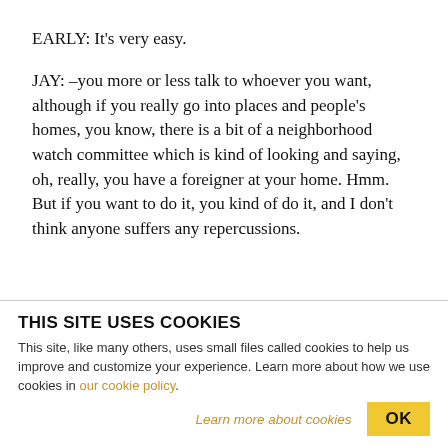EARLY: It's very easy.
JAY: –you more or less talk to whoever you want, although if you really go into places and people's homes, you know, there is a bit of a neighborhood watch committee which is kind of looking and saying, oh, really, you have a foreigner at your home. Hmm. But if you want to do it, you kind of do it, and I don't think anyone suffers any repercussions.
THIS SITE USES COOKIES
This site, like many others, uses small files called cookies to help us improve and customize your experience. Learn more about how we use cookies in our cookie policy.
Learn more about cookies  OK